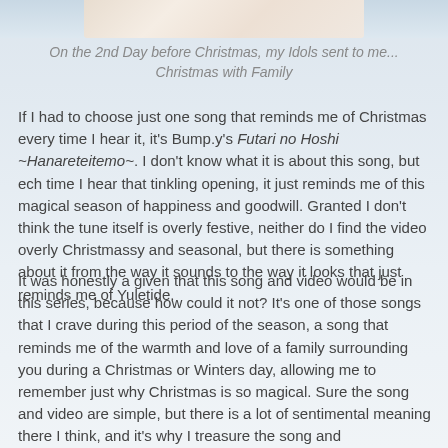[Figure (photo): Cropped bottom portion of a photo showing two people in light/white clothing against a light background]
On the 2nd Day before Christmas, my Idols sent to me...
Christmas with Family
If I had to choose just one song that reminds me of Christmas every time I hear it, it's Bump.y's Futari no Hoshi ~Hanareteitemo~. I don't know what it is about this song, but ech time I hear that tinkling opening, it just reminds me of this magical season of happiness and goodwill. Granted I don't think the tune itself is overly festive, neither do I find the video overly Christmassy and seasonal, but there is something about it from the way it sounds to the way it looks that just reminds me of Yuletide.
It was honestly a given that this song and video would be in this series, because how could it not? It's one of those songs that I crave during this period of the season, a song that reminds me of the warmth and love of a family surrounding you during a Christmas or Winters day, allowing me to remember just why Christmas is so magical. Sure the song and video are simple, but there is a lot of sentimental meaning there I think, and it's why I treasure the song and